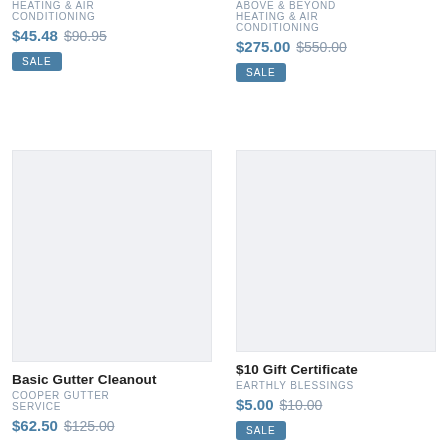HEATING & AIR CONDITIONING
$45.48  $90.95
SALE
ABOVE & BEYOND HEATING & AIR CONDITIONING
$275.00  $550.00
SALE
[Figure (other): Gray placeholder image for Basic Gutter Cleanout product]
Basic Gutter Cleanout
COOPER GUTTER SERVICE
$62.50  $125.00
[Figure (other): Gray placeholder image for $10 Gift Certificate product]
$10 Gift Certificate
EARTHLY BLESSINGS
$5.00  $10.00
SALE